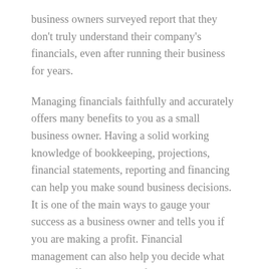business owners surveyed report that they don't truly understand their company's financials, even after running their business for years.
Managing financials faithfully and accurately offers many benefits to you as a small business owner. Having a solid working knowledge of bookkeeping, projections, financial statements, reporting and financing can help you make sound business decisions. It is one of the main ways to gauge your success as a business owner and tells you if you are making a profit. Financial management can also help you decide what you can afford in terms of new investments in employees, equipment and inventory.
But that's just for starters. Mastering financials provides you with the tools you need to plan for your business long term, including diversifying your